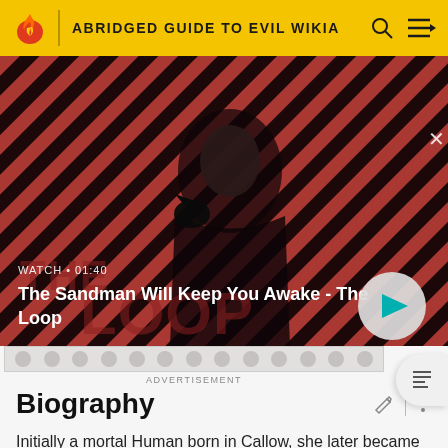ABRIDGED GUIDE TO EVIL WIKIA
[Figure (screenshot): Video thumbnail showing a dark-cloaked figure with a raven on their shoulder against a red and dark diagonal striped background. Overlay text: 'WATCH · 01:40' and title 'The Sandman Will Keep You Awake - The Loop'. Play button visible at bottom right.]
ADVERTISEMENT
Biography
Initially a mortal Human born in Callow, she later became